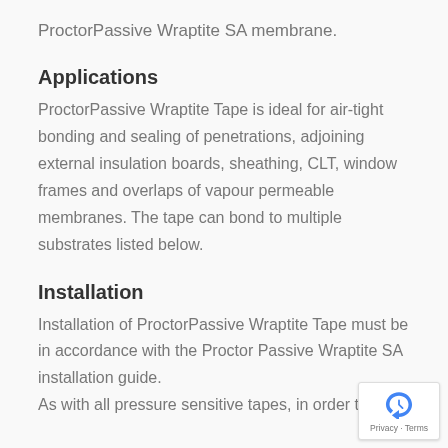ProctorPassive Wraptite SA membrane.
Applications
ProctorPassive Wraptite Tape is ideal for air-tight bonding and sealing of penetrations, adjoining external insulation boards, sheathing, CLT, window frames and overlaps of vapour permeable membranes. The tape can bond to multiple substrates listed below.
Installation
Installation of ProctorPassive Wraptite Tape must be in accordance with the Proctor Passive Wraptite SA installation guide. As with all pressure sensitive tapes, in order to